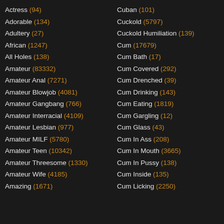Actress (94)
Adorable (134)
Adultery (27)
African (1247)
All Holes (138)
Amateur (83332)
Amateur Anal (7271)
Amateur Blowjob (4081)
Amateur Gangbang (766)
Amateur Interracial (4109)
Amateur Lesbian (977)
Amateur MILF (5780)
Amateur Teen (10342)
Amateur Threesome (1330)
Amateur Wife (4185)
Amazing (1671)
Cuban (101)
Cuckold (5797)
Cuckold Humiliation (139)
Cum (17679)
Cum Bath (17)
Cum Covered (292)
Cum Drenched (39)
Cum Drinking (143)
Cum Eating (1819)
Cum Gargling (12)
Cum Glass (43)
Cum In Ass (208)
Cum In Mouth (3665)
Cum In Pussy (138)
Cum Inside (135)
Cum Licking (2250)